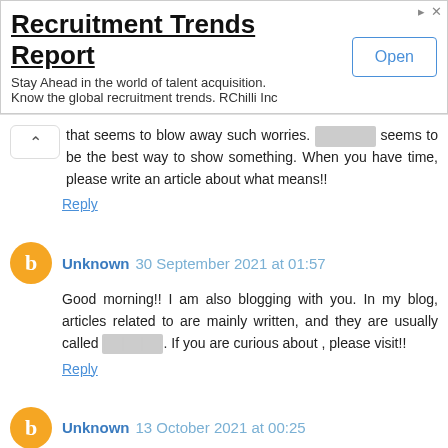[Figure (screenshot): Advertisement banner for Recruitment Trends Report with Open button]
that seems to blow away such worries. [redacted] seems to be the best way to show something. When you have time, please write an article about what means!!
Reply
Unknown 30 September 2021 at 01:57
Good morning!! I am also blogging with you. In my blog, articles related to are mainly written, and they are usually called [redacted]. If you are curious about , please visit!!
Reply
Unknown 13 October 2021 at 00:25
In my opinion, the item you posted is perfect for being selected as the best item of the year. You seem to be a